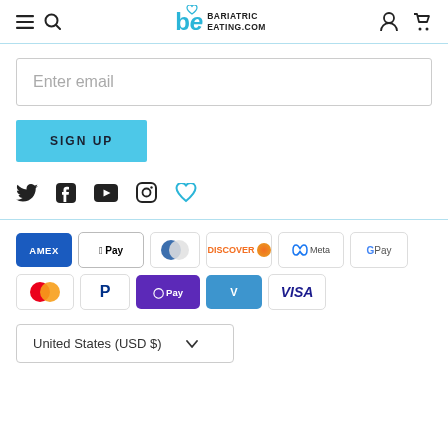BariatricEating.com navigation header with menu, search, logo, account, cart icons
Enter email
SIGN UP
[Figure (illustration): Social media icons: Twitter, Facebook, YouTube, Instagram, heart/logo]
[Figure (illustration): Payment method badges: Amex, Apple Pay, Diners, Discover, Meta, Google Pay, Mastercard, PayPal, ShopPay, Venmo, Visa]
United States (USD $)